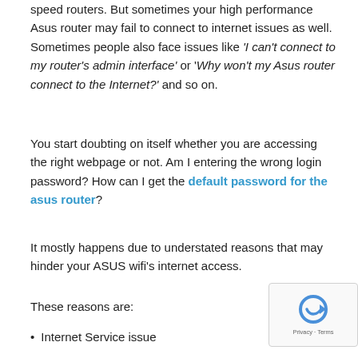speed routers. But sometimes your high performance Asus router may fail to connect to internet issues as well. Sometimes people also face issues like 'I can't connect to my router's admin interface' or 'Why won't my Asus router connect to the Internet?' and so on.
You start doubting on itself whether you are accessing the right webpage or not. Am I entering the wrong login password? How can I get the default password for the asus router?
It mostly happens due to understated reasons that may hinder your ASUS wifi's internet access.
These reasons are:
Internet Service issue